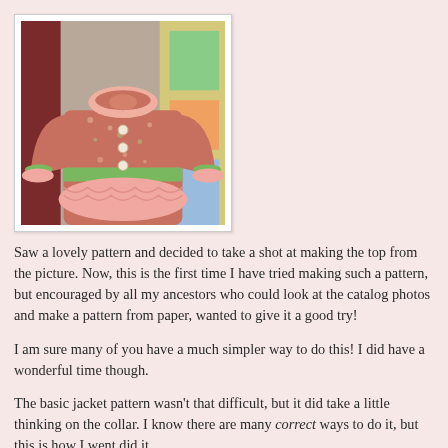[Figure (photo): A pink and green floral jacket with ruffled hem and round collar, displayed on a hanger against a colorful background.]
Saw a lovely pattern and decided to take a shot at making the top from the picture. Now, this is the first time I have tried making such a pattern, but encouraged by all my ancestors who could look at the catalog photos and make a pattern from paper, wanted to give it a good try!
I am sure many of you have a much simpler way to do this! I did have a wonderful time though.
The basic jacket pattern wasn't that difficult, but it did take a little thinking on the collar. I know there are many correct ways to do it, but this is how I went did it.